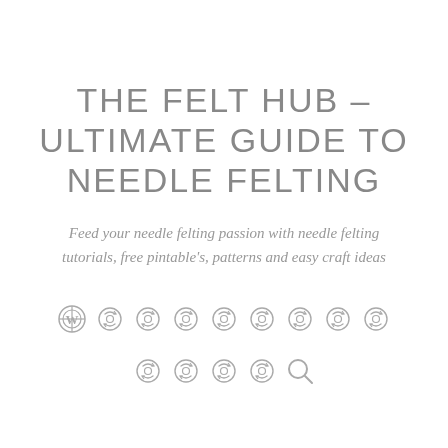THE FELT HUB – ULTIMATE GUIDE TO NEEDLE FELTING
Feed your needle felting passion with needle felting tutorials, free pintable's, patterns and easy craft ideas
[Figure (illustration): Two rows of navigation/menu icons: first row has a WordPress logo icon followed by 8 circular refresh/sync icons; second row has 4 circular refresh/sync icons followed by a search magnifier icon.]